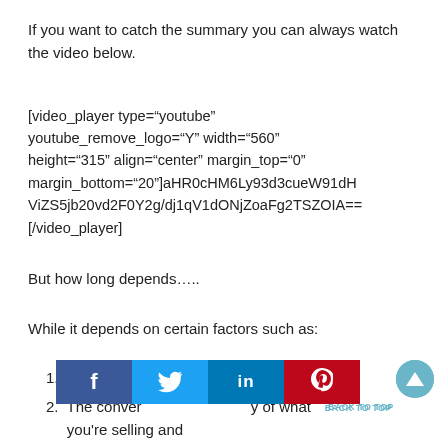If you want to catch the summary you can always watch the video below.
[video_player type="youtube" youtube_remove_logo="Y" width="560" height="315" align="center" margin_top="0" margin_bottom="20"]aHR0cHM6Ly93d3cueW91dHViZS5jb20vd2F0Y2g/dj1qV1dONjZoaFg2TSZOIA==
[/video_player]
But how long depends…..
While it depends on certain factors such as:
1. What you are selling
2. The conversion rate/quality of what you're selling and